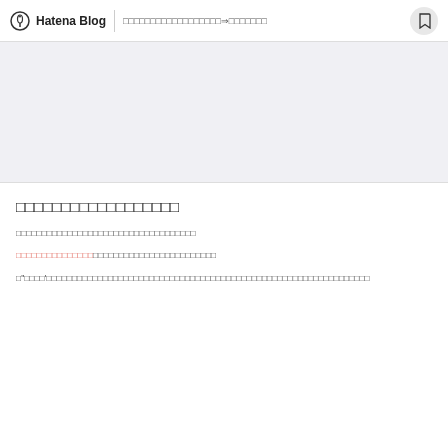Hatena Blog | □□□□□□□□□□□□□□□□□□⇒□□□□□□□
[Figure (other): Gray banner/advertisement placeholder area]
□□□□□□□□□□□□□□□□□□
□□□□□□□□□□□□□□□□□□□□□□□□□□□□□□□□□□□
□□□□□□□□□□□□□□□□□□□□□□□□□□□□□□□□□□□□□□□
□"□□□□'□□□□□□□□□□□□□□□□□□□□□□□□□□□□□□□□□□□□□□□□□□□□□□□□□□□□□□□□□□□□□□□